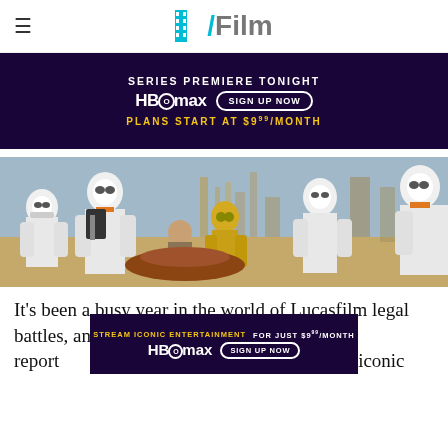/Film
[Figure (infographic): HBO Max advertisement banner with purple/dark background. Text reads: SERIES PREMIERE TONIGHT, HBO max logo, SIGN UP NOW button, PLANS START AT $9.99/MONTH]
[Figure (photo): Star Wars scene with Stormtroopers and C-3PO on what appears to be Mos Eisley, a desert alien city]
It's been a busy year in the world of Lucasfilm legal battles, and just before the year is out SYFY report sting lawsuit iconic
[Figure (infographic): HBO Max advertisement banner with purple/dark background. Text reads: STREAM ICONIC ENTERTAINMENT FOR JUST $9.99/MONTH, HBO max logo, SIGN UP NOW button]